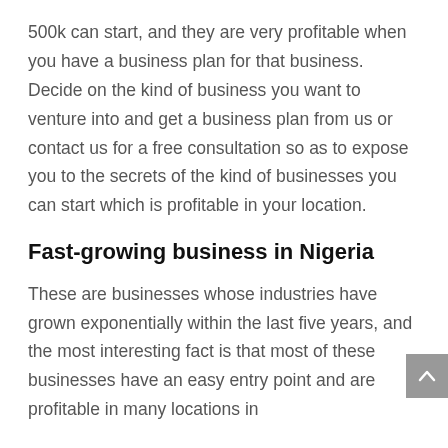500k can start, and they are very profitable when you have a business plan for that business. Decide on the kind of business you want to venture into and get a business plan from us or contact us for a free consultation so as to expose you to the secrets of the kind of businesses you can start which is profitable in your location.
Fast-growing business in Nigeria
These are businesses whose industries have grown exponentially within the last five years, and the most interesting fact is that most of these businesses have an easy entry point and are profitable in many locations in